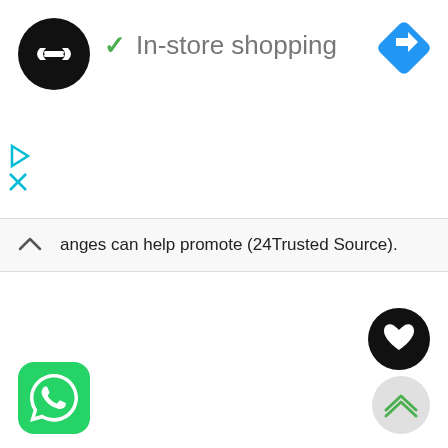[Figure (logo): Black circle with double arrow/link icon (white symbol) - app logo]
[Figure (logo): Blue diamond shape with white right-turn arrow - navigation icon]
✓  In-store shopping
[Figure (other): Blue play triangle and blue X icons on left side]
anges can help promote (24Trusted Source).
[Figure (other): Black circle with white heart icon - like/favorite button]
[Figure (other): Light gray circle with green double chevron up icon - scroll to top button]
[Figure (logo): WhatsApp green rounded square icon with white phone/chat bubble]